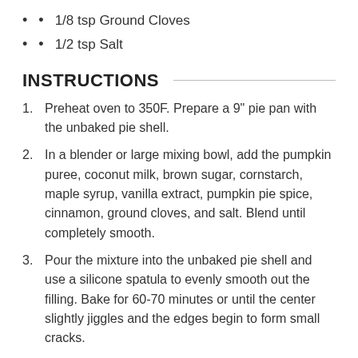1/8 tsp Ground Cloves
1/2 tsp Salt
INSTRUCTIONS
1. Preheat oven to 350F. Prepare a 9" pie pan with the unbaked pie shell.
2. In a blender or large mixing bowl, add the pumpkin puree, coconut milk, brown sugar, cornstarch, maple syrup, vanilla extract, pumpkin pie spice, cinnamon, ground cloves, and salt. Blend until completely smooth.
3. Pour the mixture into the unbaked pie shell and use a silicone spatula to evenly smooth out the filling. Bake for 60-70 minutes or until the center slightly jiggles and the edges begin to form small cracks.
4. Let cool at room temperature for at least one hour, and then chill uncovered in the fridge for at least 6 hours (or up to 48 hours) to completely